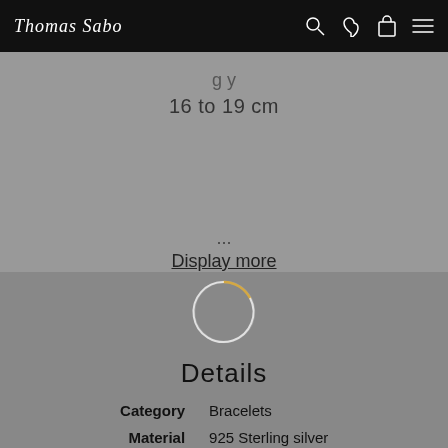Thomas Sabo
16 to 19 cm
... Display more
[Figure (other): Loading spinner ring icon - circular outline ring with gold/white gradient]
Details
| Category | Bracelets |
| Material | 925 Sterling silver |
| Colour | silver-coloured, dark-blue, white |